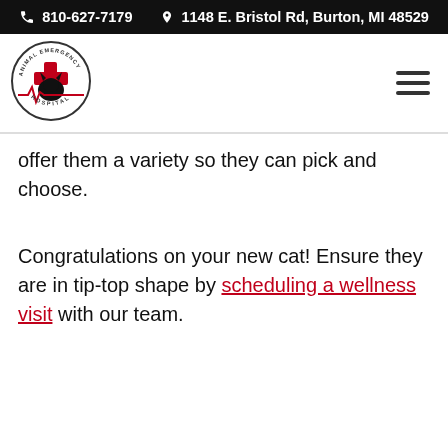810-627-7179   1148 E. Bristol Rd, Burton, MI 48529
[Figure (logo): Animal Emergency Hospital circular logo with red cross and black cat silhouette]
offer them a variety so they can pick and choose.
Congratulations on your new cat! Ensure they are in tip-top shape by scheduling a wellness visit with our team.